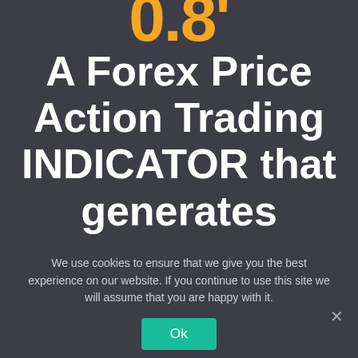0.8'
A Forex Price Action Trading INDICATOR that generates astounding
We use cookies to ensure that we give you the best experience on our website. If you continue to use this site we will assume that you are happy with it.
Ok